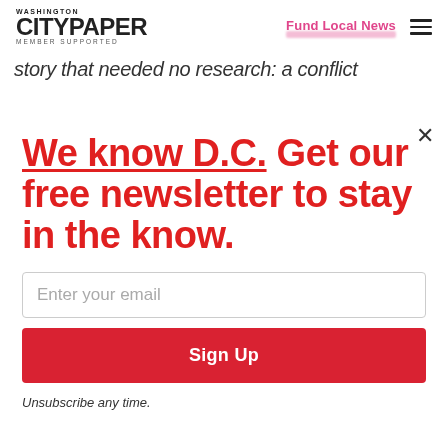[Figure (logo): Washington City Paper logo with 'MEMBER SUPPORTED' text below]
Fund Local News
story that needed no research: a conflict
We know D.C. Get our free newsletter to stay in the know.
Enter your email
Sign Up
Unsubscribe any time.